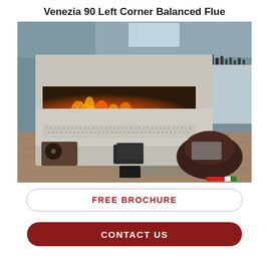Venezia 90 Left Corner Balanced Flue
[Figure (photo): A modern corner gas fireplace (Venezia 90 Left Corner Balanced Flue) installed in a contemporary living room with grey walls, wooden floor, a dark leather beanbag, and decorative items on a shelf. The fireplace has a concrete/stone surround with flames visible through a wide rectangular glass panel.]
FREE BROCHURE
CONTACT US